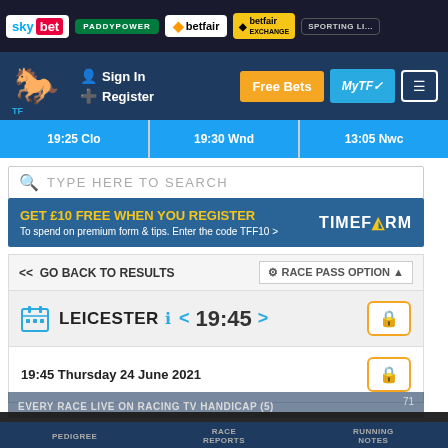[Figure (screenshot): Sponsor logos bar: sky bet, PADDYPOWER, betfair, betfair exchange, SPORTING LI...]
[Figure (screenshot): Navigation bar with horse racing silhouette logo, Sign In, Register links, Free Bets button, MyTF button, menu button]
19:25 Clo   19:30 Wnd   13:05 Nwc
TYPE HERE TO SEARCH
GET £10 FREE WHEN YOU REGISTER To spend on premium form & tips. Enter the code TFF10 > TIMEFORM
<< GO BACK TO RESULTS
RACE PASS OPTION ▲
LEICESTER  < 19:45 >
19:45 Thursday 24 June 2021
EVERY RACE LIVE ON RACING TV HANDICAP (5)   71
To help personalise content, tailor your experience and help us improve our services, Timeform uses cookies. By navigating our site, you agree to allow us to use cookies, in accordance with our Cookie Policy and Privacy Policy.
OK
PEDIGREE   RACE REPORTS   RUNNING NOTES